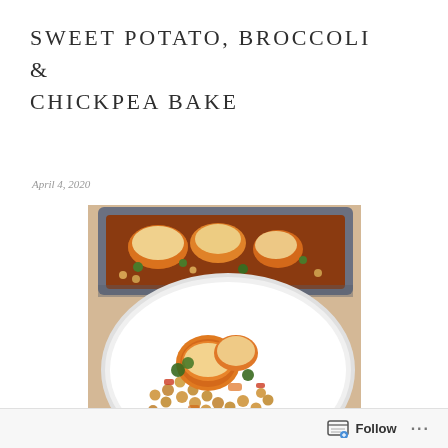SWEET POTATO, BROCCOLI & CHICKPEA BAKE
April 4, 2020
[Figure (photo): A baking dish with sweet potato, broccoli and chickpea bake topped with melted cheese, and a white plate with a serving of the same dish showing chickpeas, sweet potato rounds and vegetables.]
Follow